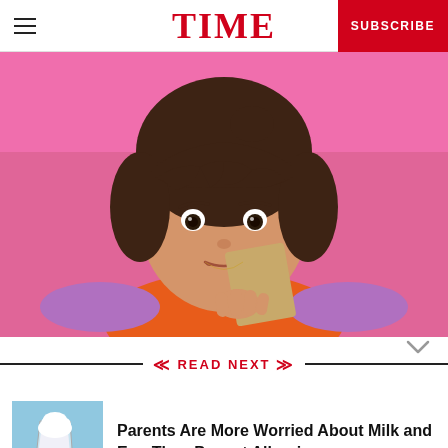TIME
[Figure (photo): Young woman with dark hair and bangs holding a tan/beige square object near her face, smiling slightly. Pink background. Wearing an orange top.]
READ NEXT
[Figure (photo): Thumbnail image of a glass of milk with cream or foam on top, blue/light background.]
Parents Are More Worried About Milk and Egg Than Peanut Allergies